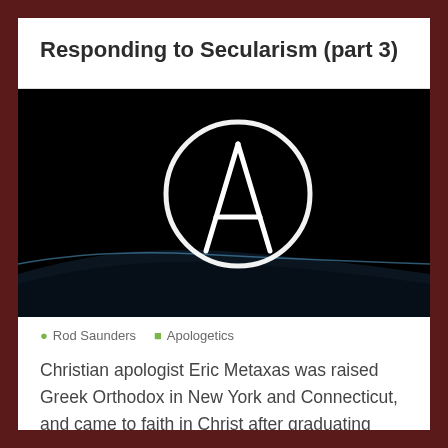Responding to Secularism (part 3)
[Figure (photo): Dark space-like background with a glowing planet horizon and a large atheist symbol (circle with A inside) in white light]
Rod Saunders   Apologetics
Christian apologist Eric Metaxas was raised Greek Orthodox in New York and Connecticut, and came to faith in Christ after graduating from Yale and